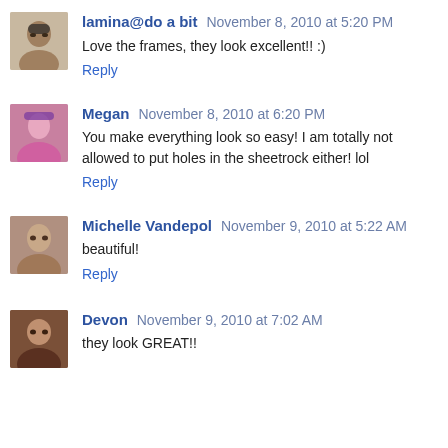lamina@do a bit  November 8, 2010 at 5:20 PM
Love the frames, they look excellent!! :)
Reply
Megan  November 8, 2010 at 6:20 PM
You make everything look so easy! I am totally not allowed to put holes in the sheetrock either! lol
Reply
Michelle Vandepol  November 9, 2010 at 5:22 AM
beautiful!
Reply
Devon  November 9, 2010 at 7:02 AM
they look GREAT!!